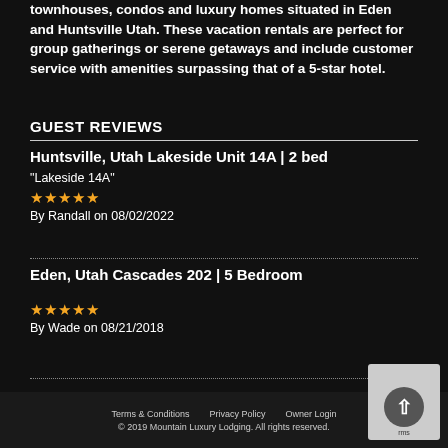townhouses, condos and luxury homes situated in Eden and Huntsville Utah. These vacation rentals are perfect for group gatherings or serene getaways and include customer service with amenities surpassing that of a 5-star hotel.
GUEST REVIEWS
Huntsville, Utah Lakeside Unit 14A | 2 bed
"Lakeside 14A"
★★★★★
By Randall on 08/02/2022
Eden, Utah Cascades 202 | 5 Bedroom
★★★★★
By Wade on 08/21/2018
Terms & Conditions   Privacy Policy   Owner Login
© 2019 Mountain Luxury Lodging. All rights reserved.